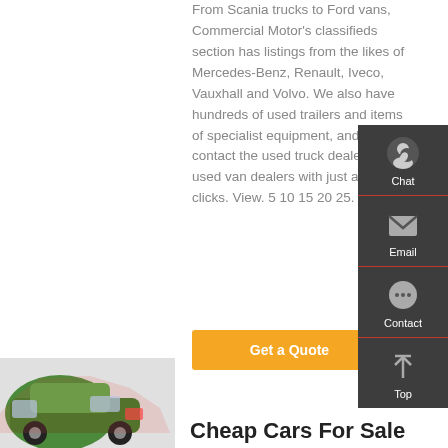From Scania trucks to Ford vans, Commercial Motor's classifieds section has listings from the likes of Mercedes-Benz, Renault, Iveco, Vauxhall and Volvo. We also have hundreds of used trailers and items of specialist equipment, and you can contact the used truck dealers and used van dealers with just a few clicks. View. 5 10 15 20 25.
[Figure (screenshot): Orange 'Get a Quote' button]
[Figure (infographic): Dark sidebar with Chat, Email, Contact, and Top navigation icons]
[Figure (photo): Partial image of a green car at the bottom left]
Cheap Cars For Sale